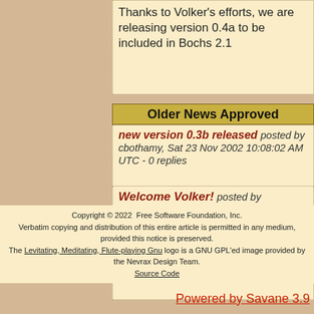Thanks to Volker's efforts, we are releasing version 0.4a to be included in Bochs 2.1
Older News Approved
new version 0.3b released posted by cbothamy, Sat 23 Nov 2002 10:08:02 AM UTC - 0 replies
Welcome Volker! posted by cbothamy, Tue 21 May 2002 07:43:46 PM UTC - 0 replies
[Submit News]
[12 news in archive]
[Figure (illustration): Green upward arrow button icon with a horizontal bar on top]
Copyright © 2022  Free Software Foundation, Inc.
Verbatim copying and distribution of this entire article is permitted in any medium, provided this notice is preserved.
The Levitating, Meditating, Flute-playing Gnu logo is a GNU GPL'ed image provided by the Nevrax Design Team.
Source Code
Powered by Savane 3.9